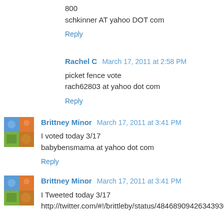800
schkinner AT yahoo DOT com
Reply
Rachel C  March 17, 2011 at 2:58 PM
picket fence vote
rach62803 at yahoo dot com
Reply
Brittney Minor  March 17, 2011 at 3:41 PM
I voted today 3/17
babybensmama at yahoo dot com
Reply
Brittney Minor  March 17, 2011 at 3:41 PM
I Tweeted today 3/17
http://twitter.com/#!/brittleby/status/48468909426343936